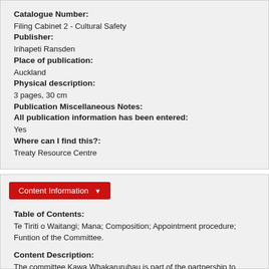Catalogue Number:
Filing Cabinet 2 - Cultural Safety
Publisher:
Irihapeti Ransden
Place of publication:
Auckland
Physical description:
3 pages, 30 cm
Publication Miscellaneous Notes:
All publication information has been entered:
Yes
Where can I find this?:
Treaty Resource Centre
Content Information
Table of Contents:
Te Tiriti o Waitangi; Mana; Composition; Appointment procedure; Funtion of the Committee.
Content Description:
The committee Kawa Whakaruruhau is part of the partnership to